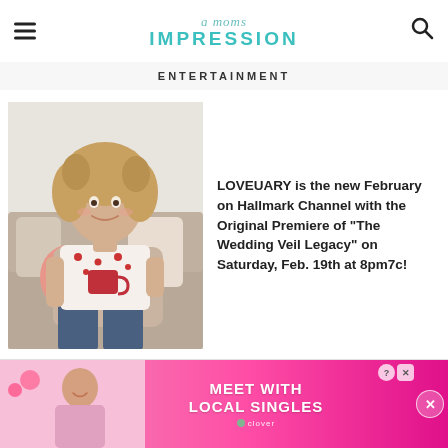a moms IMPRESSION
ENTERTAINMENT
[Figure (photo): Woman with curly hair sitting on a couch holding a mug, wearing a white top with red hearts and jeans]
LOVEUARY is the new February on Hallmark Channel with the Original Premiere of “The Wedding Veil Legacy” on Saturday, Feb. 19th at 8pm7c!
[Figure (photo): Advertisement banner: Meet With Local Singles - Clover app. Pink background with woman photo on left. Help and close buttons top right. Round X button far right.]